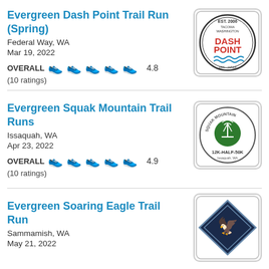Evergreen Dash Point Trail Run (Spring)
Federal Way, WA
Mar 19, 2022
OVERALL  4.8
(10 ratings)
[Figure (logo): Dash Point trail run logo: circular badge with EST. 2006, TACOMA WASHINGTON, DASH POINT in red, waves, 10K - HALF]
Evergreen Squak Mountain Trail Runs
Issaquah, WA
Apr 23, 2022
OVERALL  4.9
(10 ratings)
[Figure (logo): Squak Mountain trail runs logo: circular badge with antenna tower on green circle, 12K-HALF-50K, Issaquah, WA]
Evergreen Soaring Eagle Trail Run
Sammamish, WA
May 21, 2022
[Figure (logo): Soaring Eagle trail run logo: diamond-shaped badge with white eagle on black background]